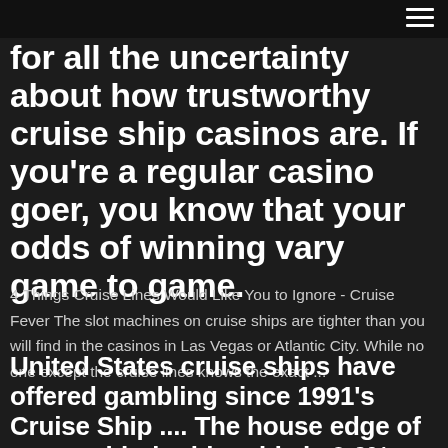for all the uncertainty about how trustworthy cruise ship casinos are. If you're a regular casino goer, you know that your odds of winning vary game to game.
4 Things Cruise Lines Would Like You to Ignore - Cruise Fever The slot machines on cruise ships are tighter than you will find in the casinos in Las Vegas or Atlantic City. While no one except the cruise lines knows the exact ...
United States cruise ships have offered gambling since 1991's Cruise Ship .... The house edge of craps with double odds is 0.6%; roulette with 0/00 is 5.26%.